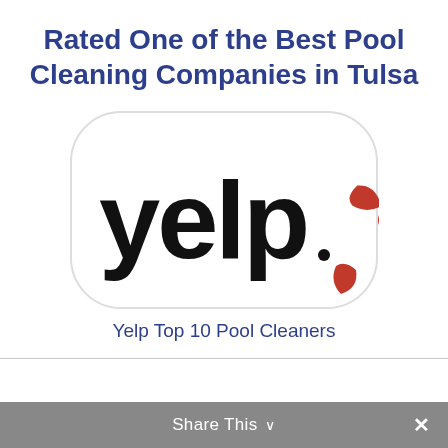Rated One of the Best Pool Cleaning Companies in Tulsa
[Figure (logo): Yelp logo sticker — black text 'yelp.' with red burst/flower icon on white rounded background]
Yelp Top 10 Pool Cleaners
Share This ∨  ✕